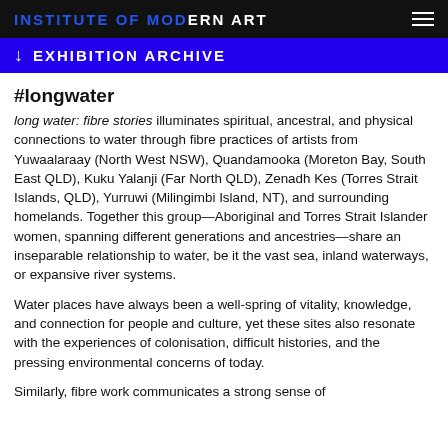INSTITUTE OF MODERN ART
↓  EXHIBITION ARCHIVE
#longwater
long water: fibre stories illuminates spiritual, ancestral, and physical connections to water through fibre practices of artists from Yuwaalaraay (North West NSW), Quandamooka (Moreton Bay, South East QLD), Kuku Yalanji (Far North QLD), Zenadh Kes (Torres Strait Islands, QLD), Yurruwi (Milingimbi Island, NT), and surrounding homelands. Together this group—Aboriginal and Torres Strait Islander women, spanning different generations and ancestries—share an inseparable relationship to water, be it the vast sea, inland waterways, or expansive river systems.
Water places have always been a well-spring of vitality, knowledge, and connection for people and culture, yet these sites also resonate with the experiences of colonisation, difficult histories, and the pressing environmental concerns of today.
Similarly, fibre work communicates a strong sense of